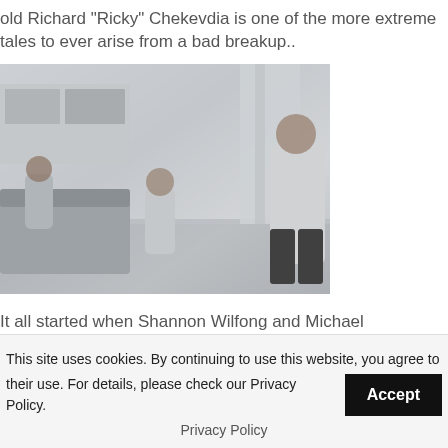old Richard "Ricky" Chekevdia is one of the more extreme tales to ever arise from a bad breakup..
[Figure (photo): Indoor scene showing two children and an adult man in a bright modern living room. The man is wearing a grey long-sleeve shirt and dark pants. A child is sitting on a couch and another child is near the man. The room has white walls and curtains.]
It all started when Shannon Wilfong and Michael Chekevdia found out they were pregnant back in 2002.  They were excited and happy but had been fighting a lot and the
This site uses cookies. By continuing to use this website, you agree to their use. For details, please check our Privacy Policy.
Privacy Policy